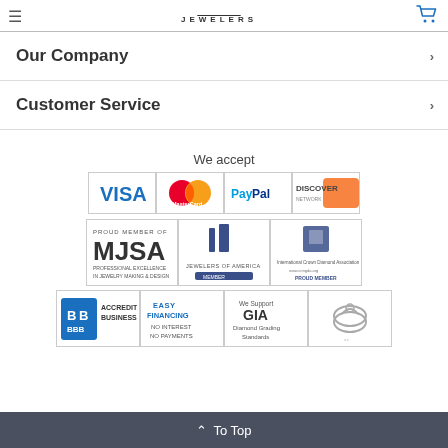JEWELERS
Our Company
Customer Service
We accept
[Figure (logo): Payment method logos: VISA, MasterCard, PayPal, Discover]
[Figure (logo): Membership logos: MJSA Proud Member, Jewelers of America Member, International Crown Diamond Association Proud Member]
[Figure (logo): Trust badges: BBB Accredited Business, Easy Financing No Interest No Payments, We Support GIA Diamond Grading Standards, ring logo]
To Top